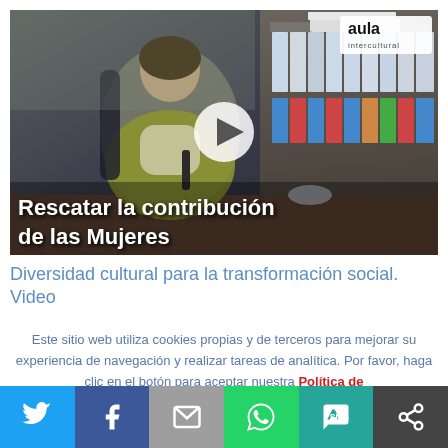[Figure (screenshot): Video thumbnail showing a woman seated at a desk in an office with bookshelves, with a play button overlay. Text overlay reads 'Rescatar la contribución de las Mujeres'. Aula Intercultural logo in top-right corner.]
Diversidad cultural para la transformación social. Video
Este sitio web utiliza cookies propias y de terceros para mejorar su experiencia de navegación y realizar tareas de analítica. Por favor, haga clic en el botón para aceptar nuestra Política de
[Figure (infographic): Social share bar with icons for Twitter, Facebook, Email, WhatsApp, SMS, and More (share options).]